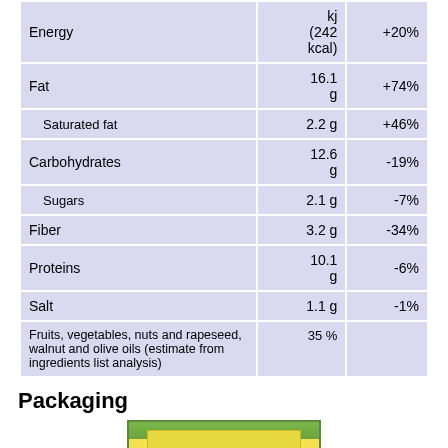|  | Amount | % |
| --- | --- | --- |
| Energy | kj (242 kcal) | +20% |
| Fat | 16.1 g | +74% |
| Saturated fat | 2.2 g | +46% |
| Carbohydrates | 12.6 g | -19% |
| Sugars | 2.1 g | -7% |
| Fiber | 3.2 g | -34% |
| Proteins | 10.1 g | -6% |
| Salt | 1.1 g | -1% |
| Fruits, vegetables, nuts and rapeseed, walnut and olive oils (estimate from ingredients list analysis) | 35 % |  |
Packaging
[Figure (photo): Partial view of product packaging image, cut off at bottom of page]